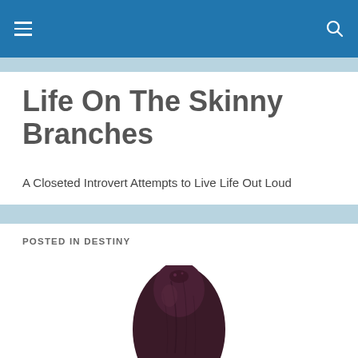Life On The Skinny Branches — navigation bar
Life On The Skinny Branches
A Closeted Introvert Attempts to Live Life Out Loud
POSTED IN DESTINY
[Figure (photo): Close-up photograph of a dark purple/black dried prune or date fruit against a white background]